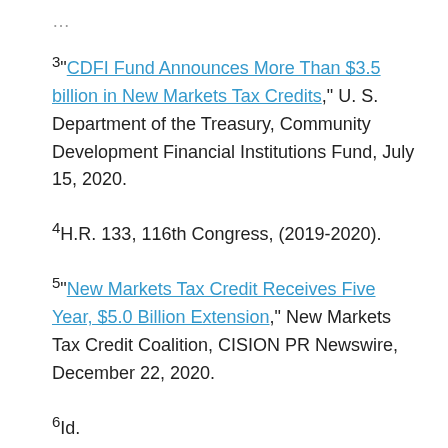3"CDFI Fund Announces More Than $3.5 billion in New Markets Tax Credits," U. S. Department of the Treasury, Community Development Financial Institutions Fund, July 15, 2020.
4H.R. 133, 116th Congress, (2019-2020).
5"New Markets Tax Credit Receives Five Year, $5.0 Billion Extension," New Markets Tax Credit Coalition, CISION PR Newswire, December 22, 2020.
6Id.
7"Measuring the impacts of the New Markets Tax Credit Program on our communities," Baker Tilly.